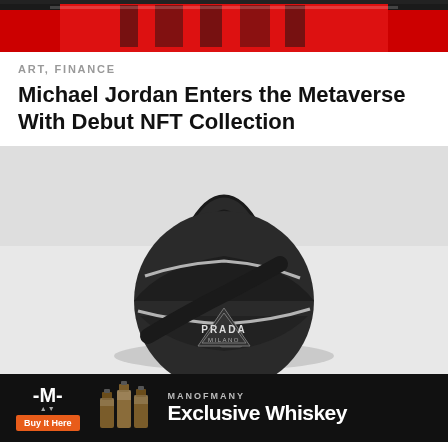[Figure (photo): Top portion of a red sports jersey with number visible, dark background]
ART, FINANCE
Michael Jordan Enters the Metaverse With Debut NFT Collection
[Figure (photo): Prada Milano branded basketball-shaped bag with black and grey panels, white stripe accents, and a shoulder strap, on a light grey background]
[Figure (infographic): Man of Many advertisement banner: black background with logo, whiskey bottle images, 'MANOFMANY Exclusive Whiskey' text, and orange 'Buy It Here' button]